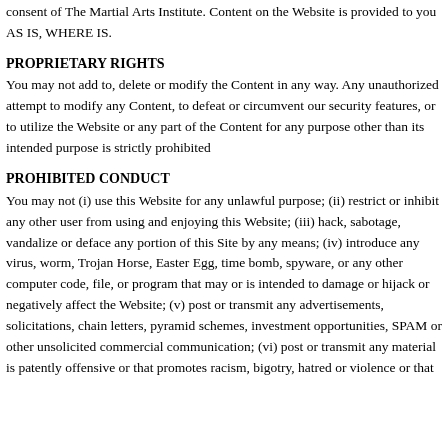consent of The Martial Arts Institute. Content on the Website is provided to you AS IS, WHERE IS.
PROPRIETARY RIGHTS
You may not add to, delete or modify the Content in any way. Any unauthorized attempt to modify any Content, to defeat or circumvent our security features, or to utilize the Website or any part of the Content for any purpose other than its intended purpose is strictly prohibited
PROHIBITED CONDUCT
You may not (i) use this Website for any unlawful purpose; (ii) restrict or inhibit any other user from using and enjoying this Website; (iii) hack, sabotage, vandalize or deface any portion of this Site by any means; (iv) introduce any virus, worm, Trojan Horse, Easter Egg, time bomb, spyware, or any other computer code, file, or program that may or is intended to damage or hijack or negatively affect the Website; (v) post or transmit any advertisements, solicitations, chain letters, pyramid schemes, investment opportunities, SPAM or other unsolicited commercial communication; (vi) post or transmit any material is patently offensive or that promotes racism, bigotry, hatred or violence or that